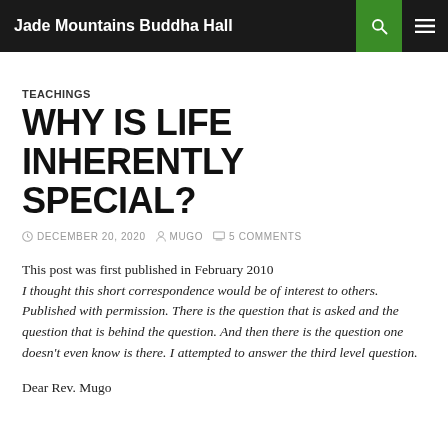Jade Mountains Buddha Hall
TEACHINGS
WHY IS LIFE INHERENTLY SPECIAL?
DECEMBER 20, 2020   MUGO   5 COMMENTS
This post was first published in February 2010
I thought this short correspondence would be of interest to others. Published with permission. There is the question that is asked and the question that is behind the question. And then there is the question one doesn't even know is there. I attempted to answer the third level question.
Dear Rev. Mugo